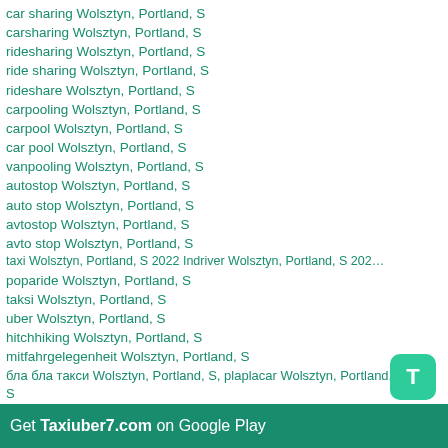car sharing Wolsztyn, Portland, S
carsharing Wolsztyn, Portland, S
ridesharing Wolsztyn, Portland, S
ride sharing Wolsztyn, Portland, S
rideshare Wolsztyn, Portland, S
carpooling Wolsztyn, Portland, S
carpool Wolsztyn, Portland, S
car pool Wolsztyn, Portland, S
vanpooling Wolsztyn, Portland, S
autostop Wolsztyn, Portland, S
auto stop Wolsztyn, Portland, S
avtostop Wolsztyn, Portland, S
avto stop Wolsztyn, Portland, S
taxi Wolsztyn, Portland, S 2022 Indriver Wolsztyn, Portland, S 2022
poparide Wolsztyn, Portland, S
taksi Wolsztyn, Portland, S
uber Wolsztyn, Portland, S
hitchhiking Wolsztyn, Portland, S
mitfahrgelegenheit Wolsztyn, Portland, S
бла бла такси Wolsztyn, Portland, S, plaplacar Wolsztyn, Portland, S
блаблатакси Wolsztyn, Portland, S едем рф найти поездак пассажир Wolsztyn, Portland, S, едем попутчики в Wolsztyn, Portland, S, едем попутчики из Wolsztyn, Portland, S попутчик Wolsztyn, Portland, S блабла кар
Get Taxiuber7.com on Google Play